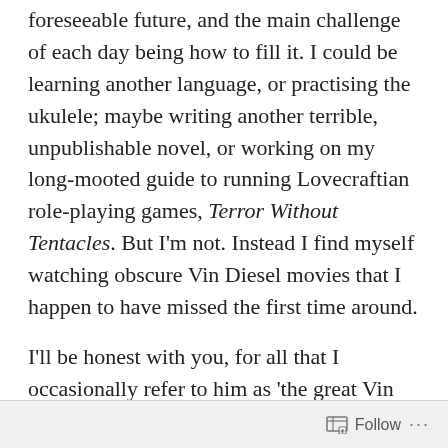foreseeable future, and the main challenge of each day being how to fill it. I could be learning another language, or practising the ukulele; maybe writing another terrible, unpublishable novel, or working on my long-mooted guide to running Lovecraftian role-playing games, Terror Without Tentacles. But I'm not. Instead I find myself watching obscure Vin Diesel movies that I happen to have missed the first time around.
I'll be honest with you, for all that I occasionally refer to him as 'the great Vin Diesel' (it is meant with affection if not complete seriousness) I have never been a completist when it comes to the artist formerly known as Mark Sinclair. Didn't see Pitch Black at the cinema, nor the first four Fast & Furious movies, nor xXx – I think you're getting
Follow